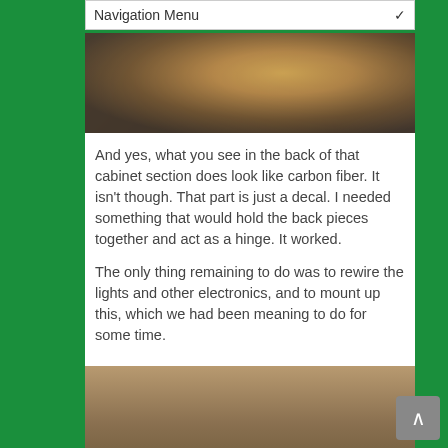Navigation Menu
[Figure (photo): Photo showing the inside of a cabinet section with what appears to be items and wiring visible from above]
And yes, what you see in the back of that cabinet section does look like carbon fiber.  It isn't though.  That part is just a decal.  I needed something that would hold the back pieces together and act as a hinge.  It worked.
The only thing remaining to do was to rewire the lights and other electronics, and to mount up this, which we had been meaning to do for some time.
[Figure (photo): Photo of a dark plaque reading 'LANCE TRAVATO' and 'Launched July 2015' mounted on what appears to be a brown fabric or leather surface]